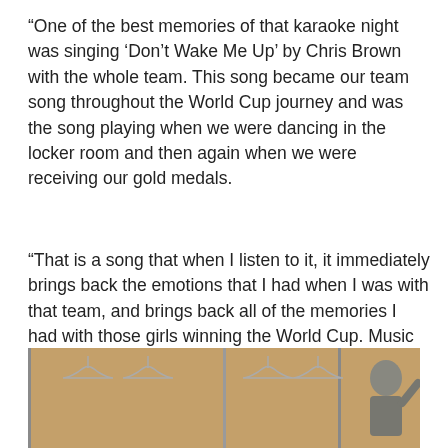“One of the best memories of that karaoke night was singing ‘Don’t Wake Me Up’ by Chris Brown with the whole team. This song became our team song throughout the World Cup journey and was the song playing when we were dancing in the locker room and then again when we were receiving our gold medals.
“That is a song that when I listen to it, it immediately brings back the emotions that I had when I was with that team, and brings back all of the memories I had with those girls winning the World Cup. Music is just powerful in that way.”
[Figure (photo): A locker room scene showing lockers with hangers and what appears to be a person on the right side of the image strip.]